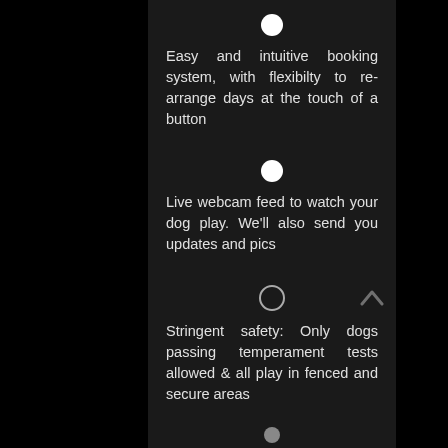[Figure (other): White filled circle bullet point]
Easy and intuitive booking system, with flexibilty to re-arrange days at the touch of a button
[Figure (other): White filled circle bullet point]
Live webcam feed to watch your dog play. We'll also send you updates and pics
[Figure (other): White outlined circle bullet point]
Stringent safety: Only dogs passing temperament tests allowed & all play in fenced and secure areas
[Figure (other): White outlined circle bullet point at bottom]